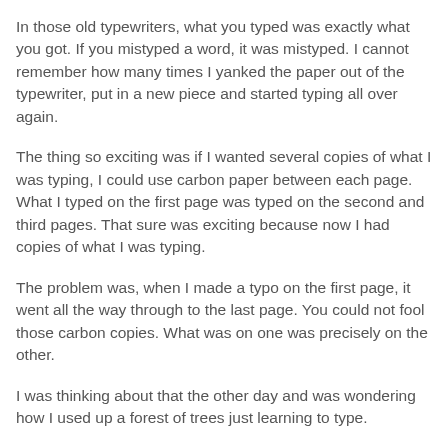In those old typewriters, what you typed was exactly what you got. If you mistyped a word, it was mistyped. I cannot remember how many times I yanked the paper out of the typewriter, put in a new piece and started typing all over again.
The thing so exciting was if I wanted several copies of what I was typing, I could use carbon paper between each page. What I typed on the first page was typed on the second and third pages. That sure was exciting because now I had copies of what I was typing.
The problem was, when I made a typo on the first page, it went all the way through to the last page. You could not fool those carbon copies. What was on one was precisely on the other.
I was thinking about that the other day and was wondering how I used up a forest of trees just learning to type.
That typewriter was a friend of mine, and we worked like a well-oiled machine. The thing about that typewriter, it never